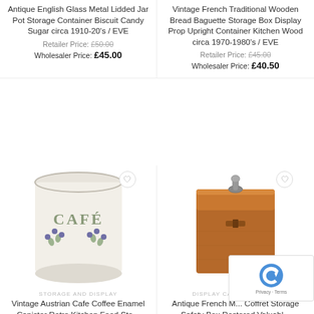[Figure (photo): Product listing: Antique English Glass Metal Lidded Jar Pot Storage Container Biscuit Candy Sugar circa 1910-20s / EVE]
Antique English Glass Metal Lidded Jar Pot Storage Container Biscuit Candy Sugar circa 1910-20's / EVE
Retailer Price: £50.00 (strikethrough)
Wholesaler Price: £45.00
[Figure (photo): Product listing: Vintage French Traditional Wooden Bread Baguette Storage Box Display Prop Upright Container Kitchen Wood circa 1970-1980s / EVE]
Vintage French Traditional Wooden Bread Baguette Storage Box Display Prop Upright Container Kitchen Wood circa 1970-1980's / EVE
Retailer Price: £45.00 (strikethrough)
Wholesaler Price: £40.50
[Figure (photo): Photo of Vintage Austrian Cafe Coffee Enamel Canister with floral design, white with blue flowers and green leaves, labelled CAFE]
STORAGE AND DISPLAY
Vintage Austrian Cafe Coffee Enamel Canister Retro Kitchen Food Sto...
[Figure (photo): Photo of Antique French leather Coffret Storage Safety Box, brown leather box with metal clasp handle on top]
DISPLAY CABINETS AND...
Antique French M... Coffret Storage Safety Box Restored Valuabl...